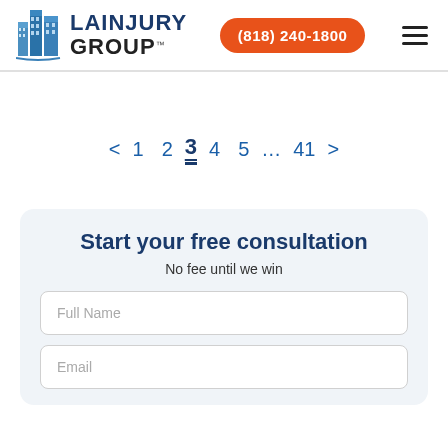LA INJURY GROUP | (818) 240-1800
< 1 2 3 4 5 … 41 >
Start your free consultation
No fee until we win
Full Name
Email